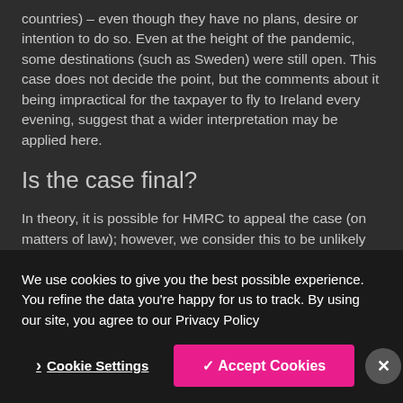countries) – even though they have no plans, desire or intention to do so. Even at the height of the pandemic, some destinations (such as Sweden) were still open. This case does not decide the point, but the comments about it being impractical for the taxpayer to fly to Ireland every evening, suggest that a wider interpretation may be applied here.
Is the case final?
In theory, it is possible for HMRC to appeal the case (on matters of law); however, we consider this to be unlikely on the basis that:
We use cookies to give you the best possible experience. You refine the data you're happy for us to track. By using our site, you agree to our Privacy Policy